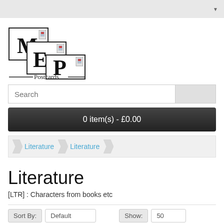[Figure (logo): MEP Postcards logo with overlapping cards showing letters M, E, P]
Search
0 item(s) - £0.00
Literature  Literature
Literature
[LTR] : Characters from books etc
Sort By:  Default  Show:  50